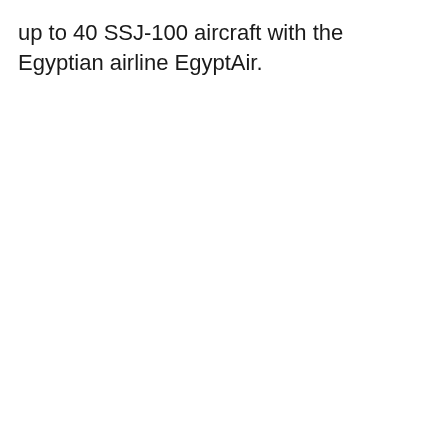up to 40 SSJ-100 aircraft with the Egyptian airline EgyptAir.